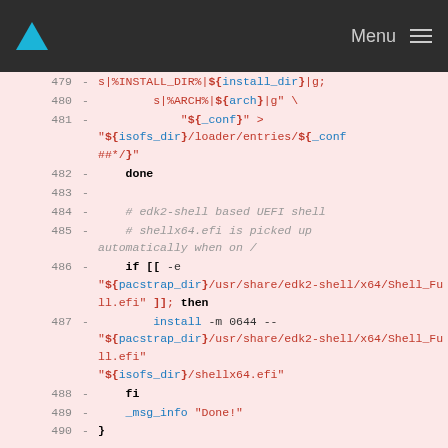Menu
Code diff showing shell script lines 479-489 with syntax highlighting